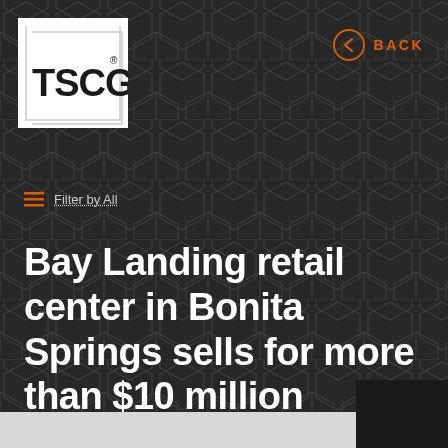[Figure (logo): TSCG company logo, white background with bold black TSCG text and registered trademark symbol, framed with white border lines]
BACK
≡ Filter by All
Bay Landing retail center in Bonita Springs sells for more than $10 million